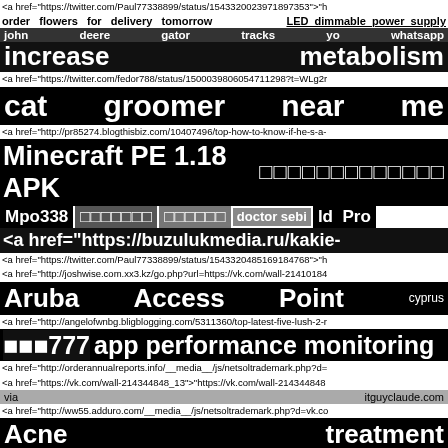<a href="https://twitter.com/Paul77338899/status/1543320023971897353">"h
order flowers for delivery tomorrow    LED dimmable power supply
john    deere    gator    tracks    yo    whatsapp
increase                                            metabolism
<a href="https://twitter.com/fedor788/status/1500039806054711298?t=WLg2r
cat        groomer        near        me
<a href="http://pr85274.blogthisbiz.com/10407496/top-how-to-know-if-he-s-a-
Minecraft PE 1.18 APK   ☐☐☐☐☐☐☐☐☐☐☐☐☐
Mpo338   ☐☐☐☐☐☐☐   ☐☐☐☐☐☐   doctor sebi   ld Pro
<a href="https://buzulukmedia.ru/kakie-
<a href="https://twitter.com/Paul77338899/status/1543320485169184768">"h
<a href="http://joshwise.com.xx3.kz/go.php?url=https://vk.com/wall-21410184
Aruba        Access        Point                      cyprus
<a href="http://angelofwnbg.bligblogging.com/5311360/top-latest-five-lush-2-r
☐☐☐777  app performance monitoring
<a href="http://orderannualreports.info/__media__/js/netsoltrademark.php?d=
<a href="https://vk.com/wall-214344848_13">"https://vk.com/wall-214344848
via                                                    itguyclaude.com
<a href="http://ww55.adduro.com/__media__/js/netsoltrademark.php?d=vk.co
Acne                                              treatment
Best    transmission    warranty    in    arizona
<a href="https://twitter.com/znFLJDYBeNJmOgs/status/149978729564128461
how to cash in bitcoin for dollars   ☐☐☐☐   purcari 1827